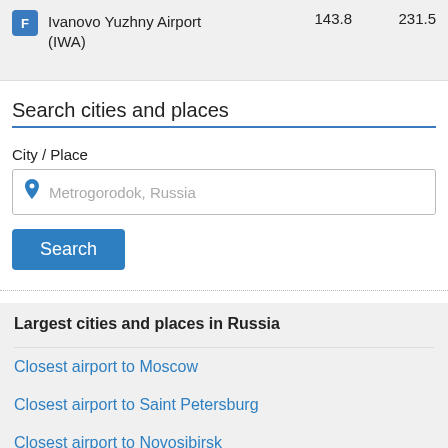| Airport | km | mi |
| --- | --- | --- |
| F  Ivanovo Yuzhny Airport (IWA) | 143.8 | 231.5 |
Search cities and places
City / Place
Metrogorodok, Russia
Search
Largest cities and places in Russia
Closest airport to Moscow
Closest airport to Saint Petersburg